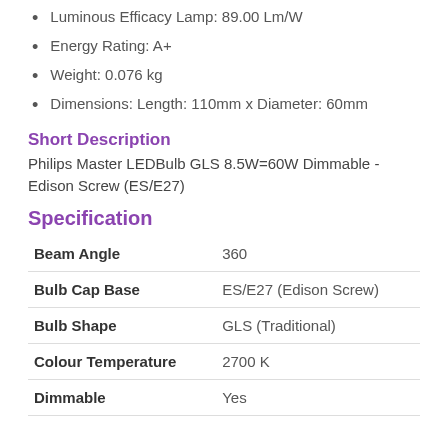Luminous Efficacy Lamp: 89.00 Lm/W
Energy Rating: A+
Weight: 0.076 kg
Dimensions: Length: 110mm x Diameter: 60mm
Short Description
Philips Master LEDBulb GLS 8.5W=60W Dimmable - Edison Screw (ES/E27)
Specification
| Property | Value |
| --- | --- |
| Beam Angle | 360 |
| Bulb Cap Base | ES/E27 (Edison Screw) |
| Bulb Shape | GLS (Traditional) |
| Colour Temperature | 2700 K |
| Dimmable | Yes |